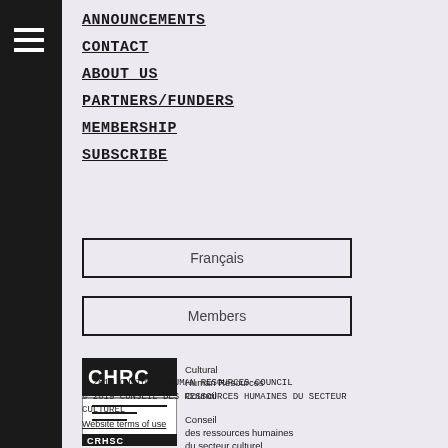ANNOUNCEMENTS
CONTACT
ABOUT US
PARTNERS/FUNDERS
MEMBERSHIP
SUBSCRIBE
Français
Members
[Figure (logo): CHRC / CRHSC Cultural Human Resources Council / Conseil des ressources humaines du secteur culturel logo]
© 2019 CULTURAL HUMAN RESOURCES COUNCIL
© 2019 CONSEIL DES RESSOURCES HUMAINES DU SECTEUR CULTUREL
Website terms of use